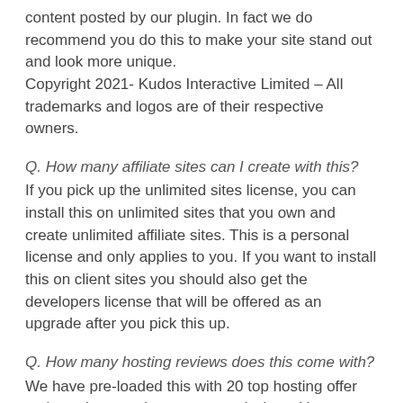content posted by our plugin. In fact we do recommend you do this to make your site stand out and look more unique.
Copyright 2021- Kudos Interactive Limited – All trademarks and logos are of their respective owners.
Q. How many affiliate sites can I create with this?
If you pick up the unlimited sites license, you can install this on unlimited sites that you own and create unlimited affiliate sites. This is a personal license and only applies to you. If you want to install this on client sites you should also get the developers license that will be offered as an upgrade after you pick this up.
Q. How many hosting reviews does this come with?
We have pre-loaded this with 20 top hosting offer reviews that pay the most commissions. You can add them one by one on a weekly basis or use them all at once to build a complete hosting affiliate review sites.